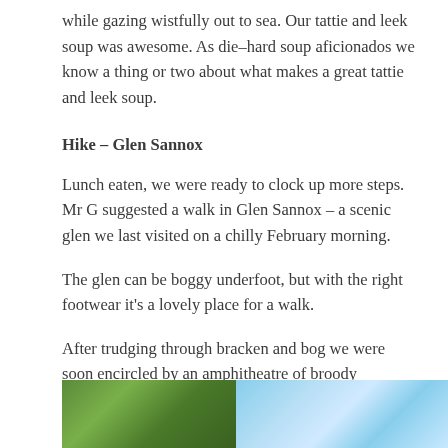while gazing wistfully out to sea. Our tattie and leek soup was awesome. As die–hard soup aficionados we know a thing or two about what makes a great tattie and leek soup.
Hike – Glen Sannox
Lunch eaten, we were ready to clock up more steps. Mr G suggested a walk in Glen Sannox – a scenic glen we last visited on a chilly February morning.
The glen can be boggy underfoot, but with the right footwear it's a lovely place for a walk.
After trudging through bracken and bog we were soon encircled by an amphitheatre of broody mountains.
[Figure (photo): Outdoor nature photo showing green trees/foliage on the left and blue sky on the right, bottom portion of page]